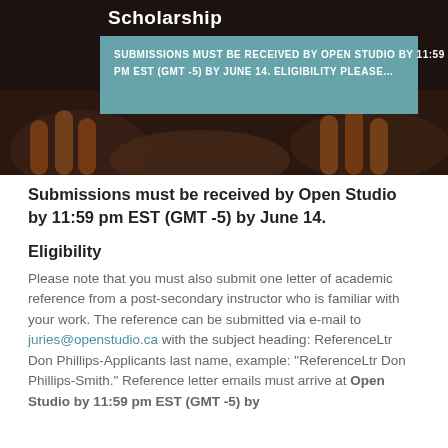[Figure (photo): Dark banner image with hands visible at bottom, showing a title 'Scholarship' and a teal overlay box with submission deadline text]
SUBMISSIONS MUST BE RECEIVED BY OPEN STUDIO BY 11:59 PM EST (GMT -5) BY JUNE 14. ELIGIBILITY PLEASE…
Submissions must be received by Open Studio by 11:59 pm EST (GMT -5) by June 14.
Eligibility
Please note that you must also submit one letter of academic reference from a post-secondary instructor who is familiar with your work. The reference can be submitted via e-mail to juries@openstudio.ca with the subject heading: ReferenceLtr Don Phillips-Applicants last name, example: "ReferenceLtr Don Phillips-Smith." Reference letter emails must arrive at Open Studio by 11:59 pm EST (GMT -5) by